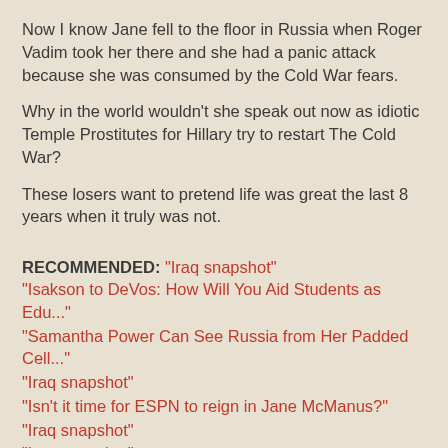Now I know Jane fell to the floor in Russia when Roger Vadim took her there and she had a panic attack because she was consumed by the Cold War fears.
Why in the world wouldn't she speak out now as idiotic Temple Prostitutes for Hillary try to restart The Cold War?
These losers want to pretend life was great the last 8 years when it truly was not.
RECOMMENDED: "Iraq snapshot" "Isakson to DeVos: How Will You Aid Students as Edu..." "Samantha Power Can See Russia from Her Padded Cell..." "Iraq snapshot" "Isn't it time for ESPN to reign in Jane McManus?" "Iraq snapshot" "Iraq snapshot" "Iraq snapshot"